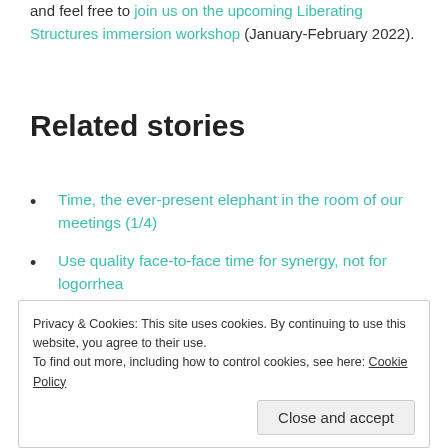and feel free to join us on the upcoming Liberating Structures immersion workshop (January-February 2022).
Related stories
Time, the ever-present elephant in the room of our meetings (1/4)
Use quality face-to-face time for synergy, not for logorrhea
Privacy & Cookies: This site uses cookies. By continuing to use this website, you agree to their use. To find out more, including how to control cookies, see here: Cookie Policy
Close and accept